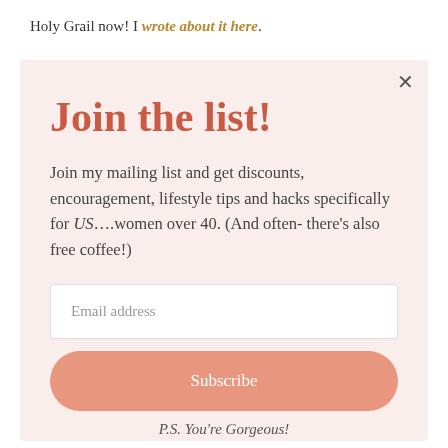Holy Grail now! I wrote about it here.
Join the list!
Join my mailing list and get discounts, encouragement, lifestyle tips and hacks specifically for US….women over 40. (And often- there's also free coffee!)
P.S. You're Gorgeous!